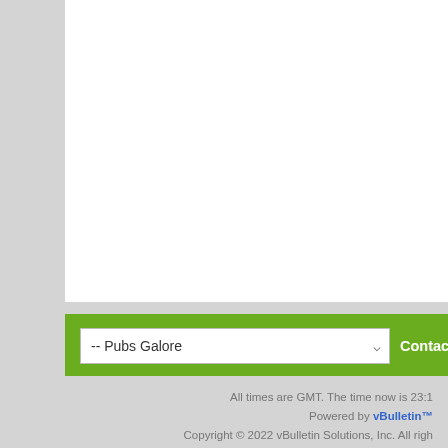[Figure (screenshot): YouTube age-restricted video embed showing dark panel with warning icon, text 'This video is age-restricted on YouTube. Learn more' and 'Watch on YouTube' link]
This video is age-restricted on YouTube. Learn more
Watch on YouTube
-- Pubs Galore
Contact Us  Pubs Galore  Archive  P
All times are GMT. The time now is 23:1
Powered by vBulletin™
Copyright © 2022 vBulletin Solutions, Inc. All righ